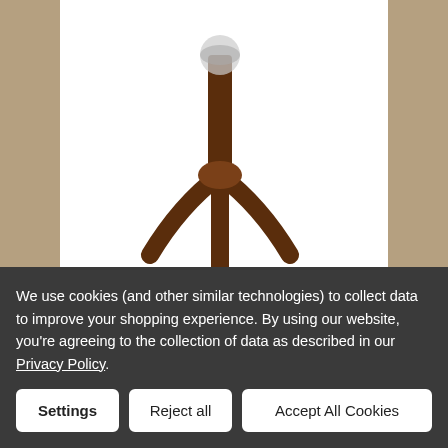[Figure (photo): Product photo showing the base and stand of a table lamp with a wooden tripod stand on white background]
[Figure (photo): Thumbnail 1: small product image showing lamp from above on white background]
[Figure (photo): Thumbnail 2: small product image showing wooden tripod stand closeup on white background]
$12.00
We use cookies (and other similar technologies) to collect data to improve your shopping experience. By using our website, you're agreeing to the collection of data as described in our Privacy Policy.
Settings
Reject all
Accept All Cookies